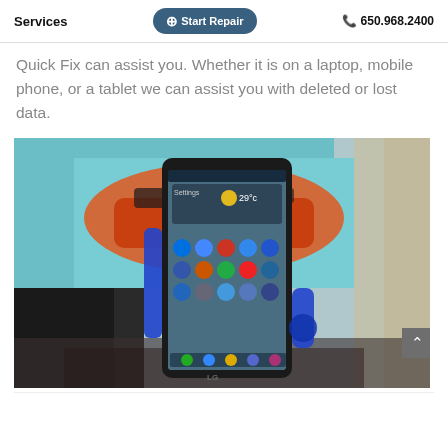Services  ⊕ Start Repair  📞 650.968.2400
Quick Fix can assist you. Whether it is on a laptop, mobile phone, or a tablet we can assist you with deleted or lost data.
[Figure (photo): An LG Android smartphone in a blue phone mount/holder, displaying the home screen with app icons and 29°C weather. In the background is a blurred monitor showing a colorful race car image.]